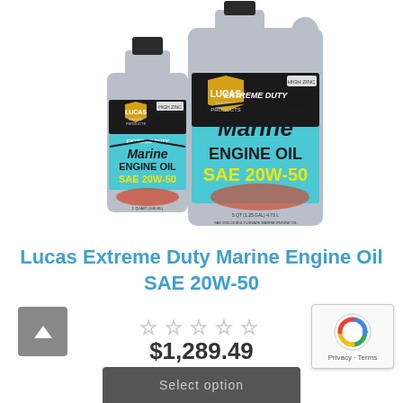[Figure (photo): Two containers of Lucas Extreme Duty Marine Engine Oil SAE 20W-50 — a quart bottle on the left and a larger jug (approx 1.25 gallon) on the right. Both are gray plastic containers with a teal/blue label featuring the Lucas Marine Products logo and red speedboat imagery.]
Lucas Extreme Duty Marine Engine Oil SAE 20W-50
$1,289.49